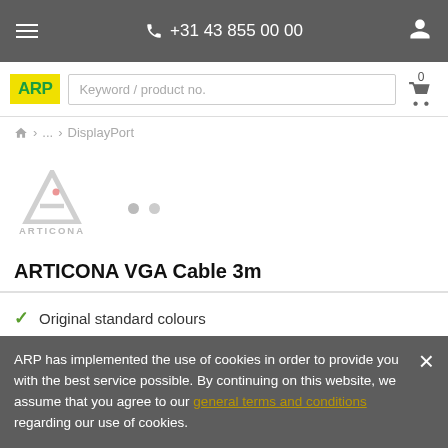+31 43 855 00 00
[Figure (logo): ARP logo - yellow background with green ARP text]
Keyword / product no.
🏠 > ... > DisplayPort
[Figure (logo): ARTICONA brand logo with stylized letter A icon]
ARTICONA VGA Cable 3m
Original standard colours
High speed transfer rate
ARP has implemented the use of cookies in order to provide you with the best service possible. By continuing on this website, we assume that you agree to our general terms and conditions regarding our use of cookies.